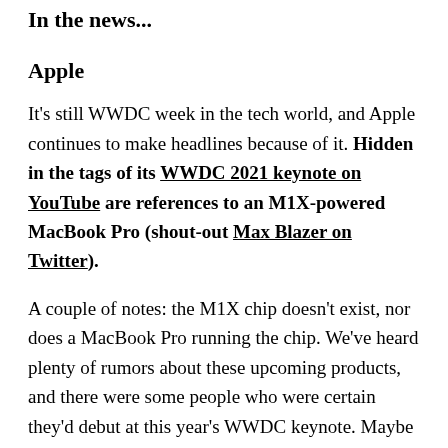In the news...
Apple
It's still WWDC week in the tech world, and Apple continues to make headlines because of it. Hidden in the tags of its WWDC 2021 keynote on YouTube are references to an M1X-powered MacBook Pro (shout-out Max Blazer on Twitter).
A couple of notes: the M1X chip doesn't exist, nor does a MacBook Pro running the chip. We've heard plenty of rumors about these upcoming products, and there were some people who were certain they'd debut at this year's WWDC keynote. Maybe Apple scrapped